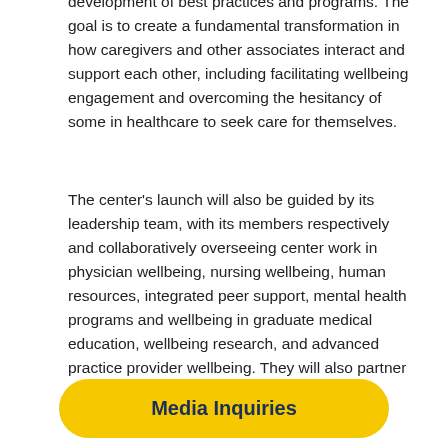development of best practices and programs. The goal is to create a fundamental transformation in how caregivers and other associates interact and support each other, including facilitating wellbeing engagement and overcoming the hesitancy of some in healthcare to seek care for themselves.
The center's launch will also be guided by its leadership team, with its members respectively and collaboratively overseeing center work in physician wellbeing, nursing wellbeing, human resources, integrated peer support, mental health programs and wellbeing in graduate medical education, wellbeing research, and advanced practice provider wellbeing. They will also partner closely with resilience coaches and therapy experts, wellness
Media Inquiries